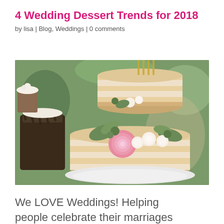4 Wedding Dessert Trends for 2018
by lisa | Blog, Weddings | 0 comments
[Figure (photo): A two-tiered naked wedding cake decorated with pink ranunculus, white roses, and greenery/eucalyptus, with a dark chocolate drip cake visible in the background, set outdoors.]
We LOVE Weddings!  Helping people celebrate their marriages